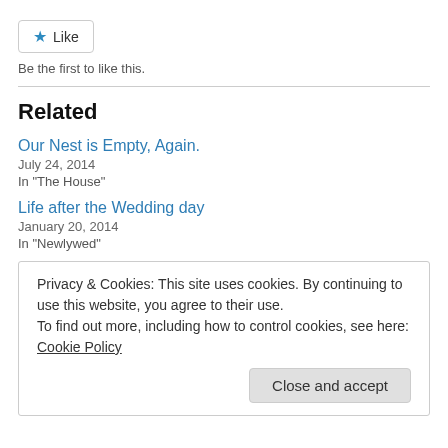[Figure (other): Like button with star icon]
Be the first to like this.
Related
Our Nest is Empty, Again.
July 24, 2014
In "The House"
Life after the Wedding day
January 20, 2014
In "Newlywed"
Privacy & Cookies: This site uses cookies. By continuing to use this website, you agree to their use.
To find out more, including how to control cookies, see here: Cookie Policy
Close and accept